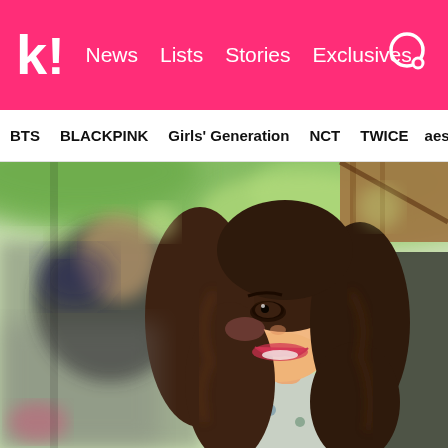Koreaboo — News | Lists | Stories | Exclusives
BTS | BLACKPINK | Girls' Generation | NCT | TWICE | aespa
[Figure (photo): A smiling young woman with long brown wavy hair and red lipstick, wearing a floral outfit, photographed outdoors with a man in a black shirt blurred in the background and green trees overhead.]